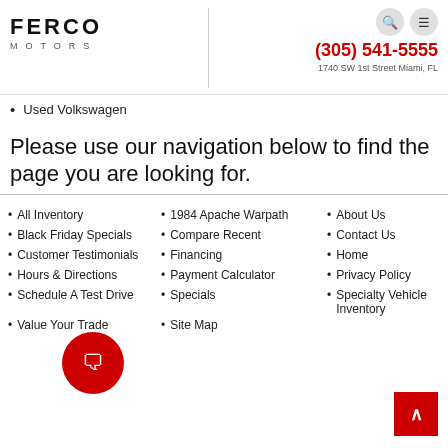[Figure (logo): Ferco Motors logo with bold FERCO text and spaced MOTORS subtitle]
(305) 541-5555
1740 SW 1st Street Miami, FL
Used Volkswagen
Please use our navigation below to find the page you are looking for.
All Inventory
Black Friday Specials
Customer Testimonials
Hours & Directions
Schedule A Test Drive
Value Your Trade
1984 Apache Warpath
Compare Recent
Financing
Payment Calculator
Specials
Site Map
About Us
Contact Us
Home
Privacy Policy
Specialty Vehicle Inventory